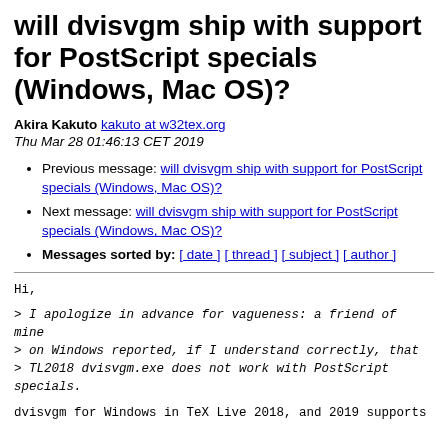will dvisvgm ship with support for PostScript specials (Windows, Mac OS)?
Akira Kakuto kakuto at w32tex.org
Thu Mar 28 01:46:13 CET 2019
Previous message: will dvisvgm ship with support for PostScript specials (Windows, Mac OS)?
Next message: will dvisvgm ship with support for PostScript specials (Windows, Mac OS)?
Messages sorted by: [ date ] [ thread ] [ subject ] [ author ]
Hi,
> I apologize in advance for vagueness: a friend of mine
> on Windows reported, if I understand correctly, that
> TL2018 dvisvgm.exe does not work with PostScript specials.
dvisvgm for Windows in TeX Live 2018, and 2019 supports